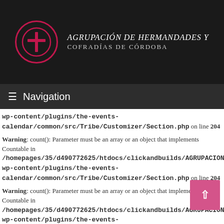[Figure (logo): Agrupación de Hermandades y Cofradías de Córdoba logo: dark header bar with circular emblem containing a red cross on dark background, with organization name in white italic and uppercase text to the right.]
≡ Navigation
wp-content/plugins/the-events-calendar/common/src/Tribe/Customizer/Section.php on line 204
Warning: count(): Parameter must be an array or an object that implements Countable in /homepages/35/d490772625/htdocs/clickandbuilds/AGRUPACIONV1/wp-content/plugins/the-events-calendar/common/src/Tribe/Customizer/Section.php on line 204
Warning: count(): Parameter must be an array or an object that implements Countable in /homepages/35/d490772625/htdocs/clickandbuilds/AGRUPACIONV1/wp-content/plugins/the-events-